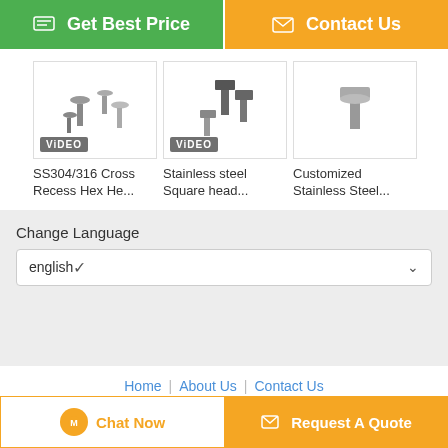[Figure (screenshot): Green 'Get Best Price' button with chat icon]
[Figure (screenshot): Orange 'Contact Us' button with mail icon]
[Figure (photo): SS304/316 Cross Recess Hex He... - screws product thumbnail with VIDEO badge]
SS304/316 Cross Recess Hex He...
[Figure (photo): Stainless steel Square head... - screws product thumbnail with VIDEO badge]
Stainless steel Square head...
[Figure (photo): Customized Stainless Steel... - screws product thumbnail]
Customized Stainless Steel...
Change Language
english
Home | About Us | Contact Us
Desktop View
Copyright © 2016 - 2022 screws-bolt.com. All rights reserved.
[Figure (screenshot): Chat Now button (orange circle icon, white background, orange border)]
[Figure (screenshot): Request A Quote button (orange background, mail icon)]